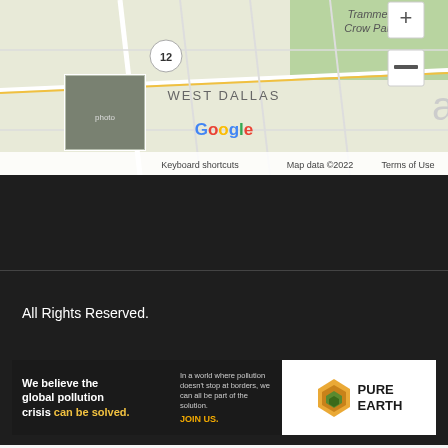[Figure (map): Google Maps showing West Dallas area with Trammell Crow Park visible. Route 12 shown. Map includes a small thumbnail photo, Google logo, zoom controls (+/-), and attribution: Keyboard shortcuts, Map data ©2022, Terms of Use.]
All Rights Reserved.
The Outdoor Stores
[Figure (infographic): Pure Earth advertisement banner. Left dark section: 'We believe the global pollution crisis can be solved.' with tagline 'In a world where pollution doesn't stop at borders, we can all be part of the solution.' and 'JOIN US.' Right section: Pure Earth logo (diamond shape with layers) and PURE EARTH text.]